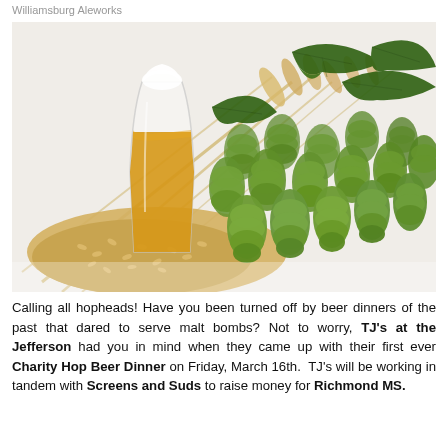Williamsburg Aleworks
[Figure (photo): A glass of golden beer, wheat stalks, a pile of barley grains, and fresh green hop cones with leaves arranged on a white surface.]
Calling all hopheads! Have you been turned off by beer dinners of the past that dared to serve malt bombs? Not to worry, TJ's at the Jefferson had you in mind when they came up with their first ever Charity Hop Beer Dinner on Friday, March 16th. TJ's will be working in tandem with Screens and Suds to raise money for Richmond MS.